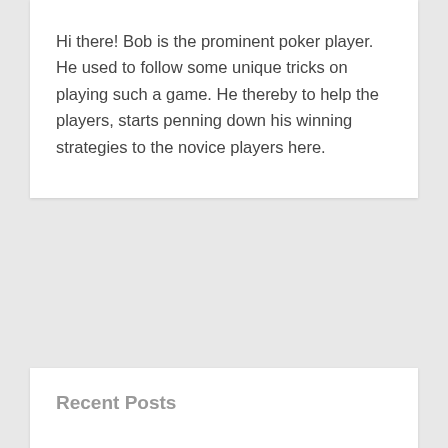Hi there! Bob is the prominent poker player. He used to follow some unique tricks on playing such a game. He thereby to help the players, starts penning down his winning strategies to the novice players here.
Recent Posts
Playing Internet Video Slot Machines as a Kind of revenue
Keys for Your Choice of Live Betting Sites – Top Choices
Gacor Online Slot Gambling Site – Play and Enjoy Pleasurable Slot Games